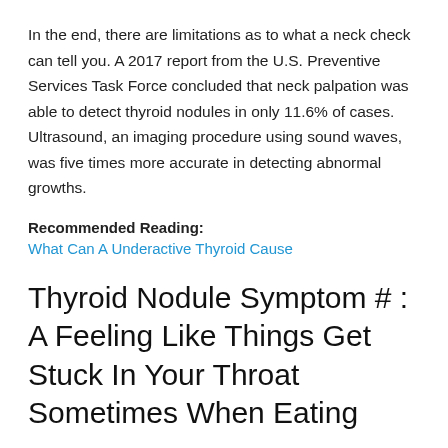In the end, there are limitations as to what a neck check can tell you. A 2017 report from the U.S. Preventive Services Task Force concluded that neck palpation was able to detect thyroid nodules in only 11.6% of cases. Ultrasound, an imaging procedure using sound waves, was five times more accurate in detecting abnormal growths.
Recommended Reading:
What Can A Underactive Thyroid Cause
Thyroid Nodule Symptom # : A Feeling Like Things Get Stuck In Your Throat Sometimes When Eating